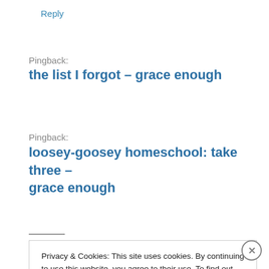Reply
Pingback:
the list I forgot – grace enough
Pingback:
loosey-goosey homeschool: take three – grace enough
Privacy & Cookies: This site uses cookies. By continuing to use this website, you agree to their use. To find out more, including how to control cookies, see here: Cookie Policy